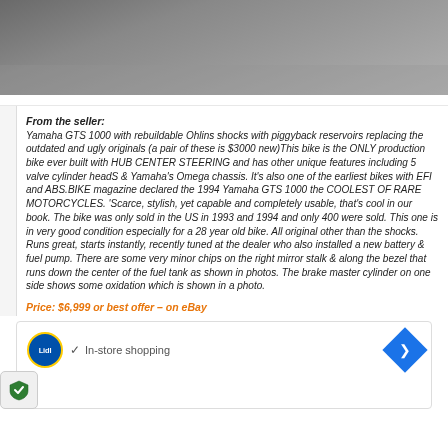[Figure (photo): Top portion of a motorcycle photo showing gravel/asphalt ground]
From the seller: Yamaha GTS 1000 with rebuildable Ohlins shocks with piggyback reservoirs replacing the outdated and ugly originals (a pair of these is $3000 new)This bike is the ONLY production bike ever built with HUB CENTER STEERING and has other unique features including 5 valve cylinder headS & Yamaha's Omega chassis. It's also one of the earliest bikes with EFI and ABS.BIKE magazine declared the 1994 Yamaha GTS 1000 the COOLEST OF RARE MOTORCYCLES. 'Scarce, stylish, yet capable and completely usable, that's cool in our book. The bike was only sold in the US in 1993 and 1994 and only 400 were sold. This one is in very good condition especially for a 28 year old bike. All original other than the shocks. Runs great, starts instantly, recently tuned at the dealer who also installed a new battery & fuel pump. There are some very minor chips on the right mirror stalk & along the bezel that runs down the center of the fuel tank as shown in photos. The brake master cylinder on one side shows some oxidation which is shown in a photo.
Price: $6,999 or best offer – on eBay
[Figure (screenshot): Advertisement banner showing Lidl logo with In-store shopping text and navigation arrow]